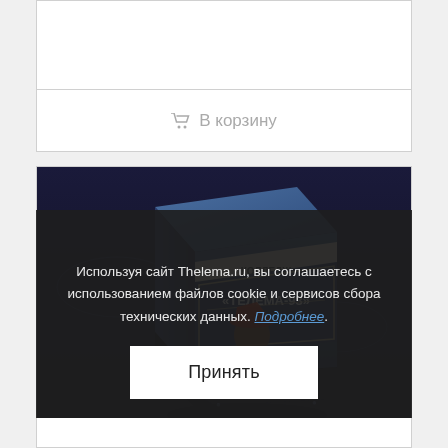[Figure (screenshot): Empty white card area at top]
🛒 В корзину
[Figure (photo): Product box for Колледж «ТЕЛЕМА-93» course with dark blue background featuring a character in a hat]
Используя сайт Thelema.ru, вы соглашаетесь с использованием файлов cookie и сервисов сбора технических данных. Подробнее.
Принять